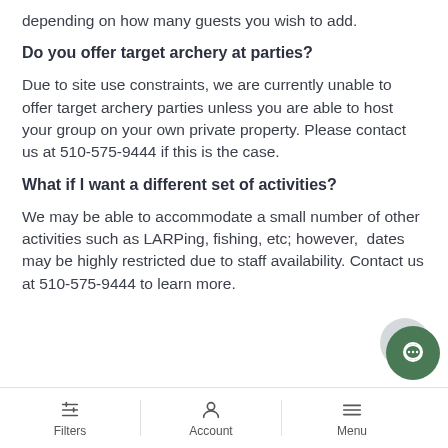depending on how many guests you wish to add.
Do you offer target archery at parties?
Due to site use constraints, we are currently unable to offer target archery parties unless you are able to host your group on your own private property. Please contact us at 510-575-9444 if this is the case.
What if I want a different set of activities?
We may be able to accommodate a small number of other activities such as LARPing, fishing, etc; however,  dates may be highly restricted due to staff availability. Contact us at 510-575-9444 to learn more.
Filters   Account   Menu